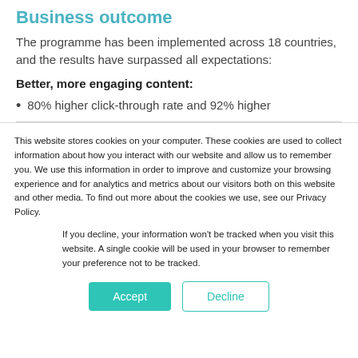Business outcome
The programme has been implemented across 18 countries, and the results have surpassed all expectations:
Better, more engaging content:
80% higher click-through rate and 92% higher
This website stores cookies on your computer. These cookies are used to collect information about how you interact with our website and allow us to remember you. We use this information in order to improve and customize your browsing experience and for analytics and metrics about our visitors both on this website and other media. To find out more about the cookies we use, see our Privacy Policy.
If you decline, your information won't be tracked when you visit this website. A single cookie will be used in your browser to remember your preference not to be tracked.